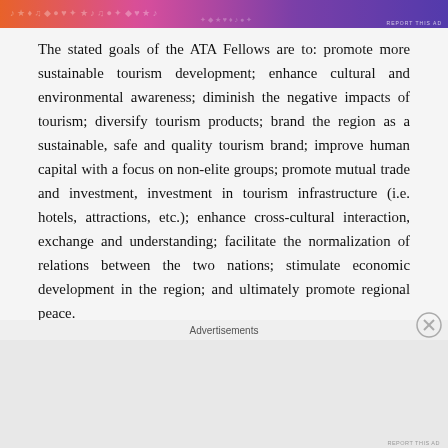[Figure (other): Colorful advertisement banner with orange, pink, and purple gradient with decorative pattern]
The stated goals of the ATA Fellows are to: promote more sustainable tourism development; enhance cultural and environmental awareness; diminish the negative impacts of tourism; diversify tourism products; brand the region as a sustainable, safe and quality tourism brand; improve human capital with a focus on non-elite groups; promote mutual trade and investment, investment in tourism infrastructure (i.e. hotels, attractions, etc.); enhance cross-cultural interaction, exchange and understanding; facilitate the normalization of relations between the two nations; stimulate economic development in the region; and ultimately promote regional peace.
Advertisements